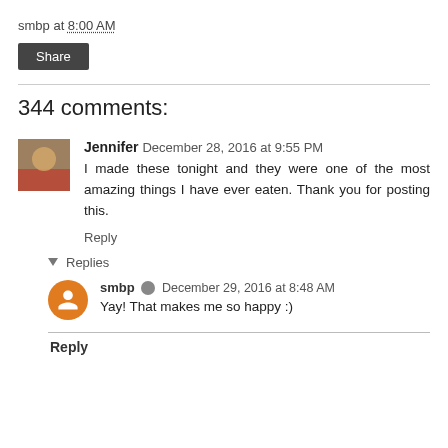smbp at 8:00 AM
Share
344 comments:
Jennifer  December 28, 2016 at 9:55 PM
I made these tonight and they were one of the most amazing things I have ever eaten. Thank you for posting this.
Reply
Replies
smbp  December 29, 2016 at 8:48 AM
Yay! That makes me so happy :)
Reply